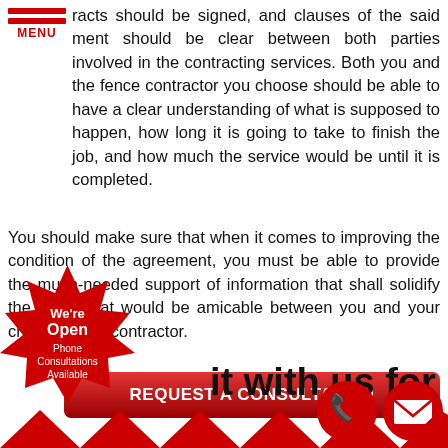[Figure (other): Hamburger menu icon with three red horizontal bars and red MENU label below]
racts should be signed, and clauses of the said ment should be clear between both parties involved in the contracting services. Both you and the fence contractor you choose should be able to have a clear understanding of what is supposed to happen, how long it is going to take to finish the job, and how much the service would be until it is completed.
You should make sure that when it comes to improving the condition of the agreement, you must be able to provide the much-needed support of information that shall solidify the terms that would be amicable between you and your chosen fence contractor.
[Figure (other): Red rounded rectangle button with white bold text REQUEST A CONSULTATION]
[Figure (other): Red starburst badge with white text: We're Open Phone Consultations Available]
it with us for Free
[Figure (other): Red circle phone icon]
[Figure (other): Red circle email/envelope icon]